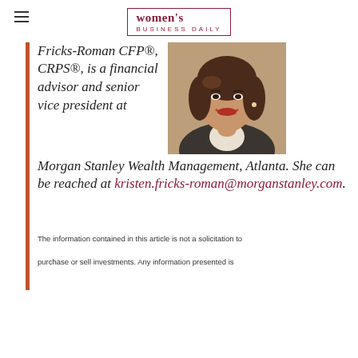women's BUSINESS DAILY
Fricks-Roman CFP®, CRPS®, is a financial advisor and senior vice president at Morgan Stanley Wealth Management, Atlanta. She can be reached at kristen.fricks-roman@morganstanley.com.
[Figure (photo): Portrait photo of a smiling woman with dark hair, wearing a dark jacket]
The information contained in this article is not a solicitation to purchase or sell investments. Any information presented is